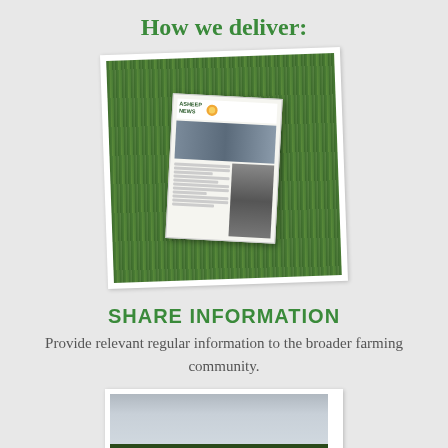How we deliver:
[Figure (photo): A newsletter titled 'ASHEEP NEWS' lying on grass, photographed from above with a white border frame]
SHARE INFORMATION
Provide relevant regular information to the broader farming community.
[Figure (photo): A green agricultural field with crop rows under a cloudy sky, photographed with a white border frame, partially visible at bottom of page]